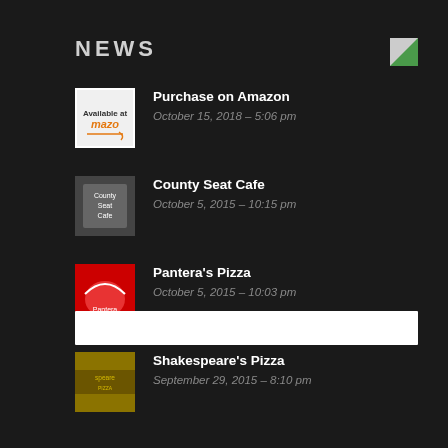NEWS
Purchase on Amazon
October 15, 2018 - 5:06 pm
County Seat Cafe
October 5, 2015 - 10:15 pm
Pantera's Pizza
October 5, 2015 - 10:03 pm
Shakespeare's Pizza
September 29, 2015 - 8:10 pm